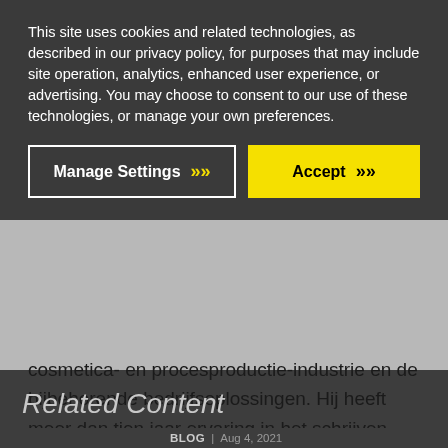This site uses cookies and related technologies, as described in our privacy policy, for purposes that may include site operation, analytics, enhanced user experience, or advertising. You may choose to consent to our use of these technologies, or manage your own preferences.
[Figure (screenshot): Two buttons: 'Manage Settings' with white border on dark background with yellow chevrons, and 'Accept' on yellow background with black chevrons]
cosmetica- en procesproductie-industrie en de bijbehorende bedrijfsoplossingen. Hij heeft meer dan tien jaar ervaring in het schrijven, redigeren, publiceren en creëren van content.
Related Content
BLOG | Aug 4, 2021